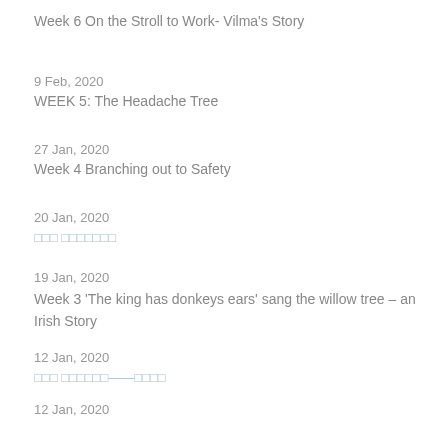Week 6 On the Stroll to Work- Vilma's Story
9 Feb, 2020
WEEK 5: The Headache Tree
27 Jan, 2020
Week 4 Branching out to Safety
20 Jan, 2020
□□□ □□□□□□□
19 Jan, 2020
Week 3 'The king has donkeys ears' sang the willow tree – an Irish Story
12 Jan, 2020
□□□ □□□□□□——□□□□
12 Jan, 2020
Week 2 Why Trees Whisper – a children's story
6 Jan, 2020